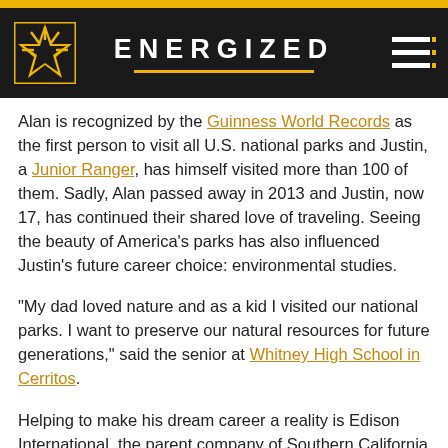ENERGIZED
Alan is recognized by the Guinness World Records as the first person to visit all U.S. national parks and Justin, a Junior Ranger, has himself visited more than 100 of them. Sadly, Alan passed away in 2013 and Justin, now 17, has continued their shared love of traveling. Seeing the beauty of America’s parks has also influenced Justin’s future career choice: environmental studies.
“My dad loved nature and as a kid I visited our national parks. I want to preserve our natural resources for future generations,” said the senior at Whitney High School in Cerritos.
Helping to make his dream career a reality is Edison International, the parent company of Southern California Edison. In a surprise announcement this week in the school’s theater in front of classmates and teachers, Justin was named one of 30 Edison Scholars...